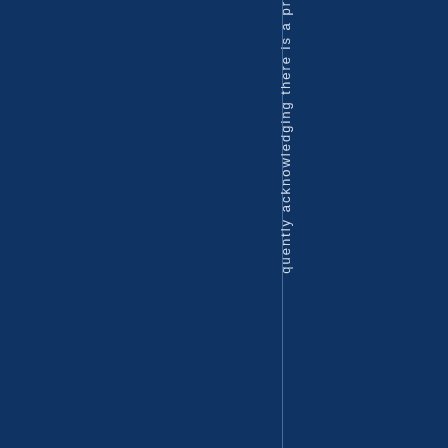quently acknowledging there is a pr